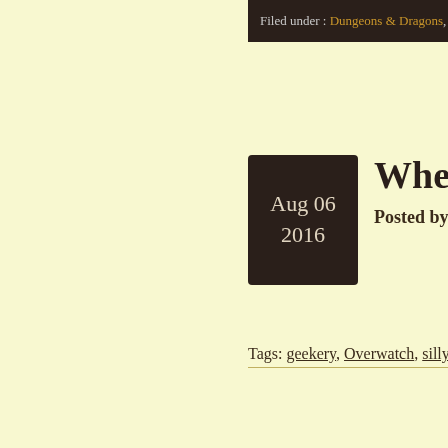Filed under : Dungeons & Dragons, Risk
When LucioBa
Posted by The Gneech
Tags: geekery, Overwatch, silly stuff